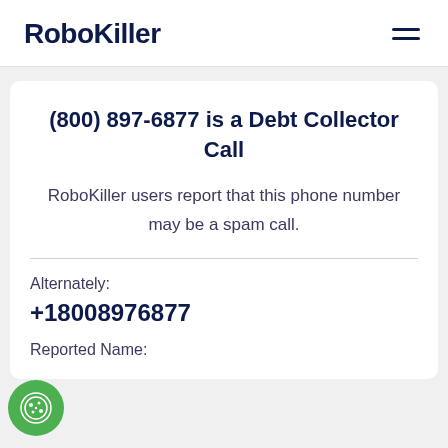RoboKiller
(800) 897-6877 is a Debt Collector Call
RoboKiller users report that this phone number may be a spam call.
Alternately:
+18008976877
Reported Name: